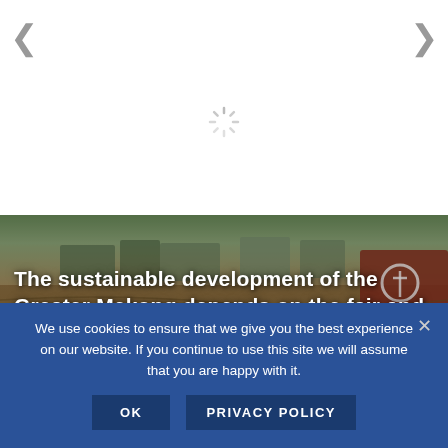[Figure (screenshot): Website screenshot showing navigation arrows (left and right chevrons), a loading spinner in a white rounded box, a river scene photo with a man in a boat on the Mekong river with boats and water in background, and a text overlay reading 'The sustainable development of the Greater Mekong depends on the fair and equitable governance of its water.' overlaid on the photo in bold white text.]
The sustainable development of the Greater Mekong depends on the fair and equitable governance of its water.
We use cookies to ensure that we give you the best experience on our website. If you continue to use this site we will assume that you are happy with it.